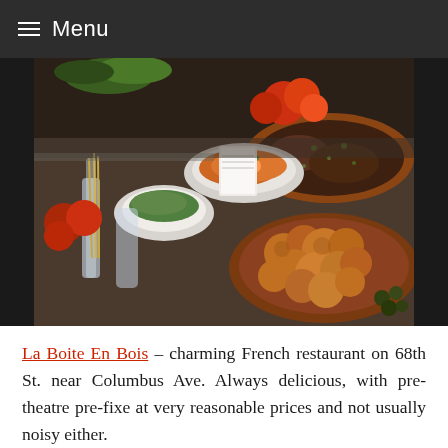Menu
[Figure (photo): A buffet spread of various French dishes in copper pans and bowls, including roasted meats, vegetables, salads, and bread, displayed on a restaurant counter.]
La Boite En Bois – charming French restaurant on 68th St. near Columbus Ave. Always delicious, with pre-theatre pre-fixe at very reasonable prices and not usually noisy either.